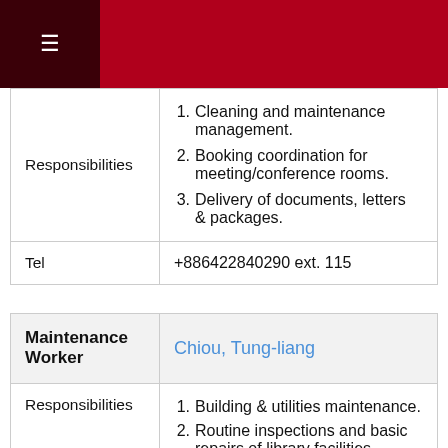≡
| Responsibilities | 1. Cleaning and maintenance management.
2. Booking coordination for meeting/conference rooms.
3. Delivery of documents, letters & packages. |
| Tel | +886422840290 ext. 115 |
| ['Maintenance Worker', 'Chiou, Tung-liang'] |
| --- |
| Responsibilities | 1. Building & utilities maintenance.
2. Routine inspections and basic repairs of library facilities. |